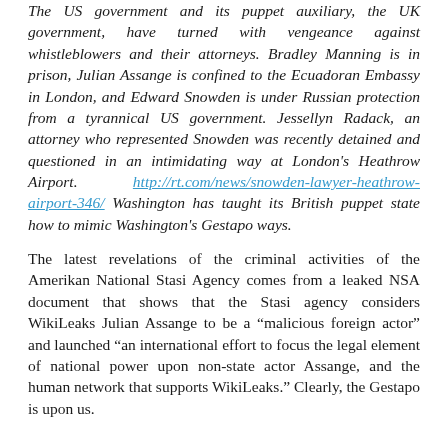The US government and its puppet auxiliary, the UK government, have turned with vengeance against whistleblowers and their attorneys. Bradley Manning is in prison, Julian Assange is confined to the Ecuadoran Embassy in London, and Edward Snowden is under Russian protection from a tyrannical US government. Jessellyn Radack, an attorney who represented Snowden was recently detained and questioned in an intimidating way at London's Heathrow Airport. http://rt.com/news/snowden-lawyer-heathrow-airport-346/ Washington has taught its British puppet state how to mimic Washington's Gestapo ways.
The latest revelations of the criminal activities of the Amerikan National Stasi Agency comes from a leaked NSA document that shows that the Stasi agency considers WikiLeaks Julian Assange to be a "malicious foreign actor" and launched "an international effort to focus the legal element of national power upon non-state actor Assange, and the human network that supports WikiLeaks." Clearly, the Gestapo is upon us.